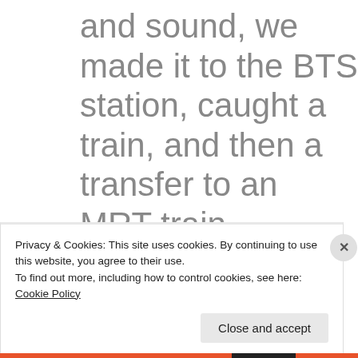and sound, we made it to the BTS station, caught a train, and then a transfer to an MRT train (Bangkok's subway) before arriving to the vicinity of our hotel. Tired, wet, dirty, and hungry – but nevertheless very
Privacy & Cookies: This site uses cookies. By continuing to use this website, you agree to their use.
To find out more, including how to control cookies, see here: Cookie Policy
Close and accept